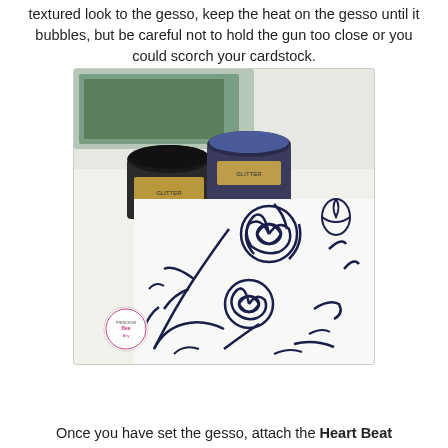textured look to the gesso, keep the heat on the gesso until it bubbles, but be careful not to hold the gun too close or you could scorch your cardstock.
[Figure (photo): Photo of two small jars of dark-colored powder (one black, one blue/navy) sitting on white cardstock that has a floral rose pattern drawn in dark navy blue ink or gesso. A small circular logo/watermark is visible in the lower left of the photo.]
Once you have set the gesso, attach the Heart Beat